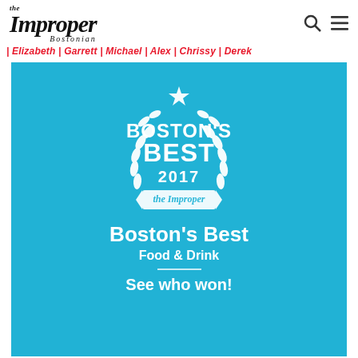the Improper Bostonian
| Elizabeth | Garrett | Michael | Alex | Chrissy | Derek
[Figure (illustration): Boston's Best 2017 award badge on blue background with text: Boston's Best, Food & Drink, See who won!]